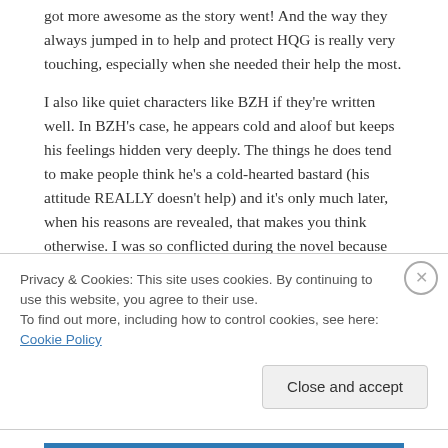got more awesome as the story went! And the way they always jumped in to help and protect HQG is really very touching, especially when she needed their help the most.
I also like quiet characters like BZH if they're written well. In BZH's case, he appears cold and aloof but keeps his feelings hidden very deeply. The things he does tend to make people think he's a cold-hearted bastard (his attitude REALLY doesn't help) and it's only much later, when his reasons are revealed, that makes you think otherwise. I was so conflicted during the novel because BZH kept so many of his feelings/reasons hidden and the story is mainly told through Hua Qiangu's eyes, so of course SHE doesn't know the truth about BZH (unless other characters tell her or give her hints) until closer
Privacy & Cookies: This site uses cookies. By continuing to use this website, you agree to their use.
To find out more, including how to control cookies, see here: Cookie Policy